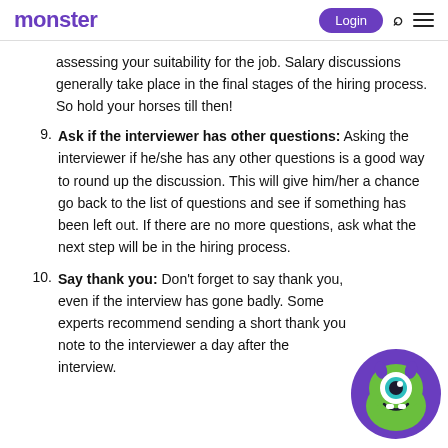monster | Login
assessing your suitability for the job. Salary discussions generally take place in the final stages of the hiring process. So hold your horses till then!
9. Ask if the interviewer has other questions: Asking the interviewer if he/she has any other questions is a good way to round up the discussion. This will give him/her a chance go back to the list of questions and see if something has been left out. If there are no more questions, ask what the next step will be in the hiring process.
10. Say thank you: Don't forget to say thank you, even if the interview has gone badly. Some experts recommend sending a short thank you note to the interviewer a day after the interview.
[Figure (illustration): Monster.com mascot — a cartoon green one-eyed monster character with purple horns, round eye, and a smile, on a purple circular background]